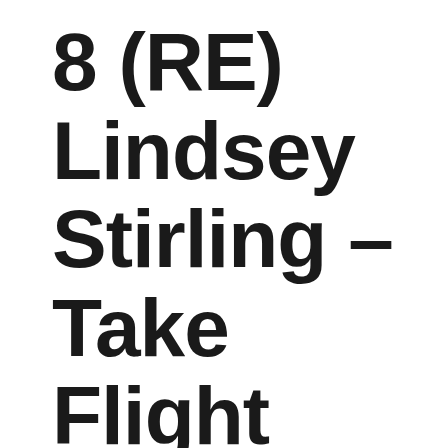8 (RE) Lindsey Stirling – Take Flight *16 plays* Chart Run: